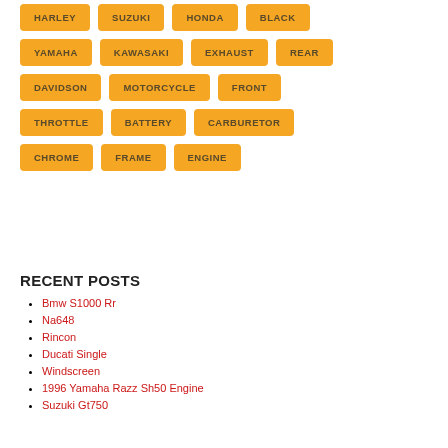HARLEY
SUZUKI
HONDA
BLACK
YAMAHA
KAWASAKI
EXHAUST
REAR
DAVIDSON
MOTORCYCLE
FRONT
THROTTLE
BATTERY
CARBURETOR
CHROME
FRAME
ENGINE
RECENT POSTS
Bmw S1000 Rr
Na648
Rincon
Ducati Single
Windscreen
1996 Yamaha Razz Sh50 Engine
Suzuki Gt750